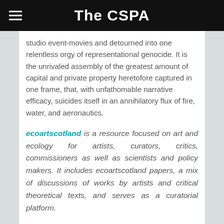The CSPA
studio event-movies and detourned into one relentless orgy of representational genocide. It is the unrivaled assembly of the greatest amount of capital and private property heretofore captured in one frame, that, with unfathomable narrative efficacy, suicides itself in an annihilatory flux of fire, water, and aeronautics.
ecoartscotland is a resource focused on art and ecology for artists, curators, critics, commissioners as well as scientists and policy makers. It includes ecoartscotland papers, a mix of discussions of works by artists and critical theoretical texts, and serves as a curatorial platform.
It has been established byÂ Chris Fremantle, producer and research associate withÂ On The Edge Research,Â Grayâ€™s School of Art, The Robert Gordon University. Fremantle